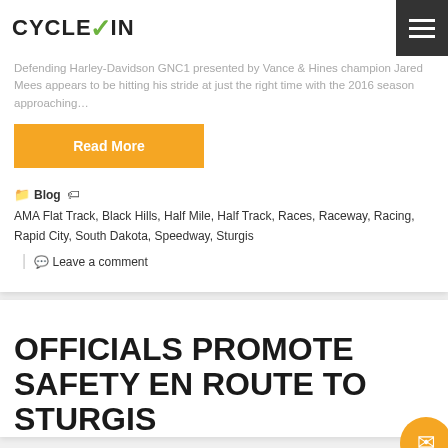CYCLEV/N (logo)
Defending Harley-Davidson GNC1 presented by Vance & Hines champion Jared Mees appears to be hitting his stride at just the right time with the 2016 season approaching…
Read More
Blog  AMA Flat Track, Black Hills, Half Mile, Half Track, Races, Raceway, Racing, Rapid City, South Dakota, Speedway, Sturgis  |  Leave a comment
OFFICIALS PROMOTE SAFETY EN ROUTE TO STURGIS